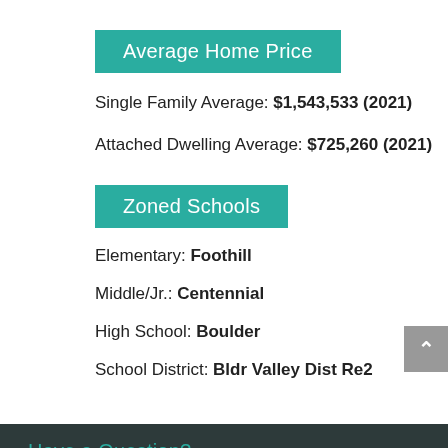Average Home Price
Single Family Average: $1,543,533 (2021)
Attached Dwelling Average: $725,260 (2021)
Zoned Schools
Elementary: Foothill
Middle/Jr.: Centennial
High School: Boulder
School District: Bldr Valley Dist Re2
Have a Question?